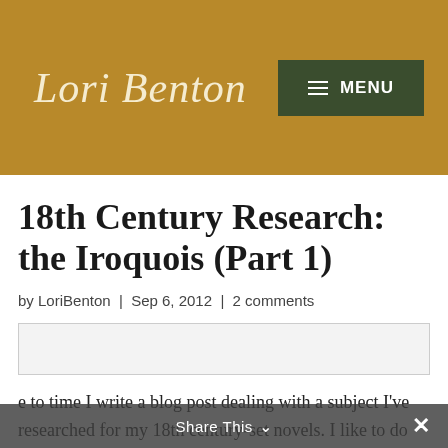Lori Benton | MENU
18th Century Research: the Iroquois (Part 1)
by LoriBenton | Sep 6, 2012 | 2 comments
[Figure (other): Horizontal image placeholder with gray borders]
e to time I write a blog post dealing with a subject I've researched for my 18th century-set novels. I like to do this for the benefit of other writers, or anyone interested in that particular subject, coming along